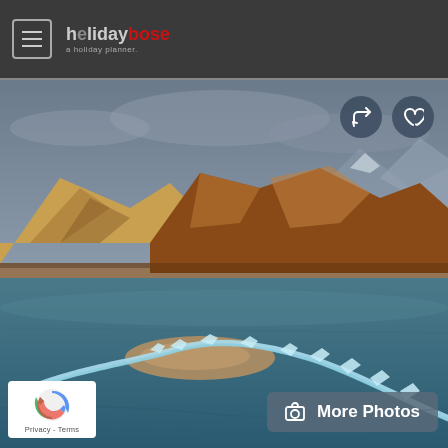holidaybose - a holiday planner
[Figure (photo): Scenic landscape photo of Pangong Lake, Ladakh with frozen blue lake in the foreground, cracked ice formations, sandy islands, and dramatic brown/golden mountain ranges under a cloudy grey sky. Social share and heart action buttons visible top-right. More Photos button overlay at bottom-right. Google reCAPTCHA badge at bottom-left.]